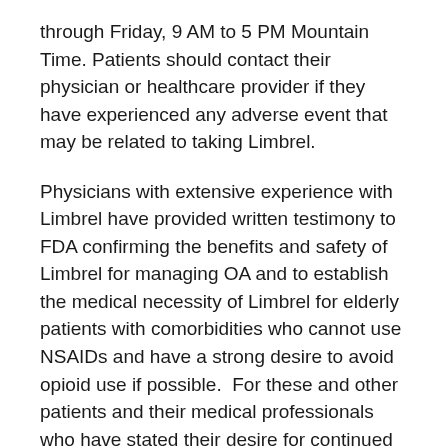through Friday, 9 AM to 5 PM Mountain Time. Patients should contact their physician or healthcare provider if they have experienced any adverse event that may be related to taking Limbrel.
Physicians with extensive experience with Limbrel have provided written testimony to FDA confirming the benefits and safety of Limbrel for managing OA and to establish the medical necessity of Limbrel for elderly patients with comorbidities who cannot use NSAIDs and have a strong desire to avoid opioid use if possible.  For these and other patients and their medical professionals who have stated their desire for continued access to Limbrel, Primus will seek to work with FDA to return Limbrel to the market as quickly as possible.  For updates about access to Limbrel go to Limbrel.com.